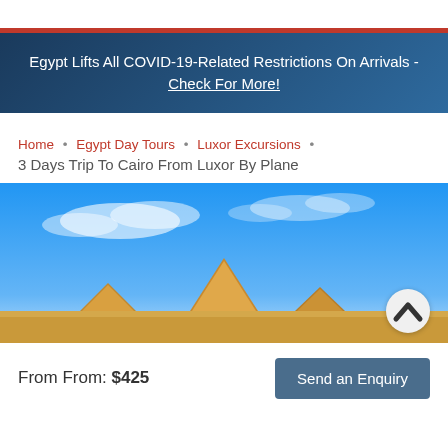Egypt Lifts All COVID-19-Related Restrictions On Arrivals - Check For More!
Home • Egypt Day Tours • Luxor Excursions •
3 Days Trip To Cairo From Luxor By Plane
[Figure (photo): Photo of Egyptian pyramids under a blue sky with scattered clouds]
From From: $425
Send an Enquiry